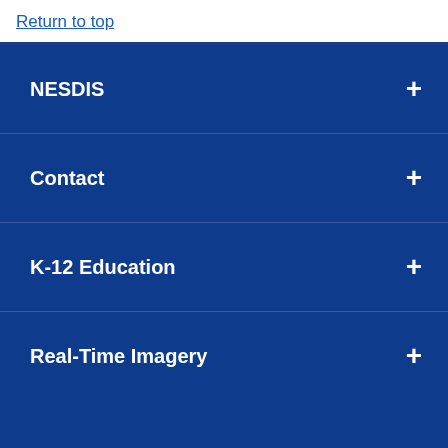Return to top
NESDIS +
Contact +
K-12 Education +
Real-Time Imagery +